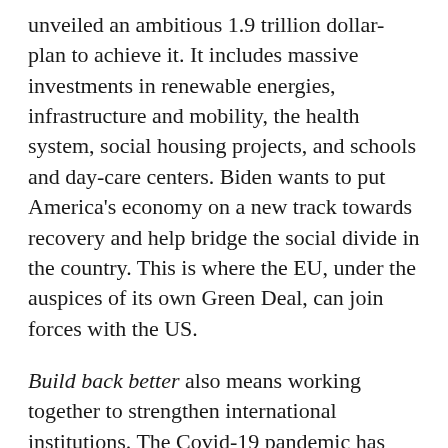unveiled an ambitious 1.9 trillion dollar-plan to achieve it. It includes massive investments in renewable energies, infrastructure and mobility, the health system, social housing projects, and schools and day-care centers. Biden wants to put America's economy on a new track towards recovery and help bridge the social divide in the country. This is where the EU, under the auspices of its own Green Deal, can join forces with the US.
Build back better also means working together to strengthen international institutions. The Covid-19 pandemic has shown us all that national measures are no match for a global crisis. Now that President Biden has initiated his country's return to the WHO, the EU should propose a transatlantic initiative to reform and strengthen the WHO. At the same time, the EU and the US should intensify cooperation with